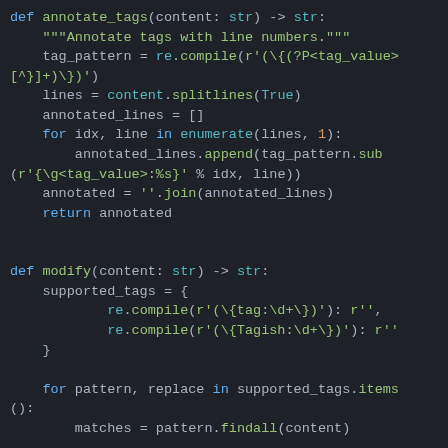[Figure (screenshot): Python source code screenshot showing two function definitions: annotate_tags and modify, displayed in a dark-themed code editor with syntax highlighting.]